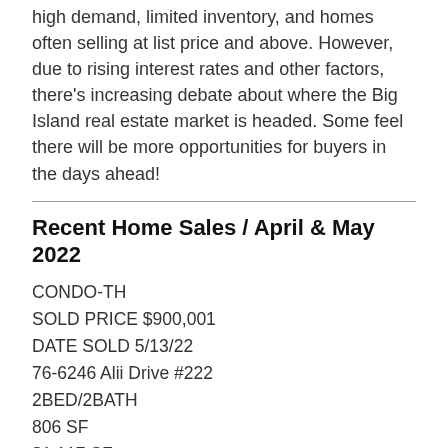high demand, limited inventory, and homes often selling at list price and above. However, due to rising interest rates and other factors, there's increasing debate about where the Big Island real estate market is headed. Some feel there will be more opportunities for buyers in the days ahead!
Recent Home Sales / April & May 2022
CONDO-TH
SOLD PRICE $900,001
DATE SOLD 5/13/22
76-6246 Alii Drive #222
2BED/2BATH
806 SF
$1,117 SF